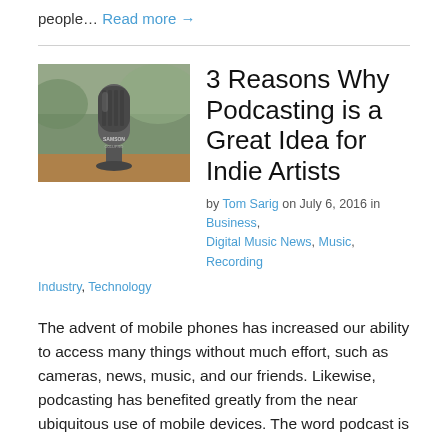people… Read more →
[Figure (photo): Close-up photo of a Samson C01UPRO USB microphone against a blurred green outdoor background]
3 Reasons Why Podcasting is a Great Idea for Indie Artists
by Tom Sarig on July 6, 2016 in Business, Digital Music News, Music, Recording Industry, Technology
The advent of mobile phones has increased our ability to access many things without much effort, such as cameras, news, music, and our friends. Likewise, podcasting has benefited greatly from the near ubiquitous use of mobile devices. The word podcast is